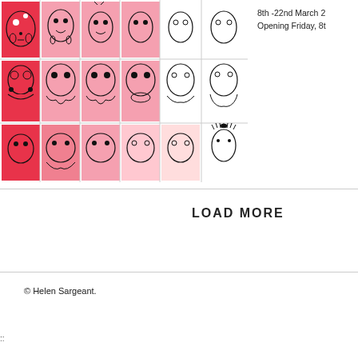[Figure (illustration): Grid of illustrated character faces/figures in pink, red and black line art, arranged in 3 rows of 6 panels]
8th -22nd March 2
Opening Friday, 8t
LOAD MORE
© Helen Sargeant.
::